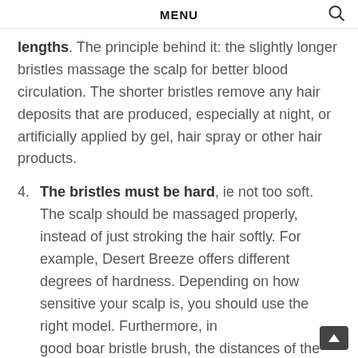MENU
lengths. The principle behind it: the slightly longer bristles massage the scalp for better blood circulation. The shorter bristles remove any hair deposits that are produced, especially at night, or artificially applied by gel, hair spray or other hair products.
4. The bristles must be hard, ie not too soft. The scalp should be massaged properly, instead of just stroking the hair softly. For example, Desert Breeze offers different degrees of hardness. Depending on how sensitive your scalp is, you should use the right model. Furthermore, in a good boar bristle brush, the distances of the bristle tufts are sufficiently large.